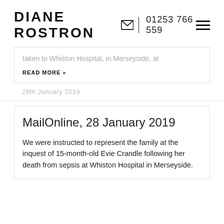DIANE ROSTRON
01253 766 559
taken to Whiston Hospital, in Merseyside, at
READ MORE »
29th January 2019
MailOnline, 28 January 2019
We were instructed to represent the family at the inquest of 15-month-old Evie Crandle following her death from sepsis at Whiston Hospital in Merseyside.